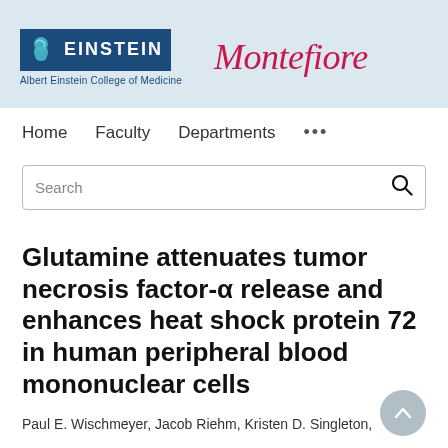[Figure (logo): Albert Einstein College of Medicine logo with blue badge and text, alongside Montefiore text logo in pink/red italic serif font]
Home   Faculty   Departments   ...
Search
Glutamine attenuates tumor necrosis factor-α release and enhances heat shock protein 72 in human peripheral blood mononuclear cells
Paul E. Wischmeyer, Jacob Riehm, Kristen D. Singleton,